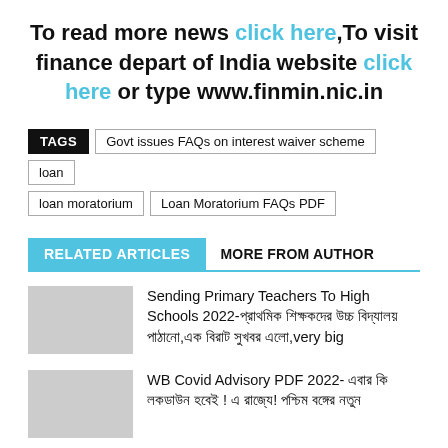To read more news click here,To visit finance depart of India website click here or type www.finmin.nic.in
TAGS: Govt issues FAQs on interest waiver scheme | loan | loan moratorium | Loan Moratorium FAQs PDF
RELATED ARTICLES   MORE FROM AUTHOR
Sending Primary Teachers To High Schools 2022-প্রাথমিক শিক্ষকদের উচ্চ বিদ্যালয় পাঠানো,এক বিরাট সুখবর এলো,very big
WB Covid Advisory PDF 2022- এবার কি লকডাউন হবেই ! এ রাজ্যে! পশ্চিম বঙ্গের নতুন